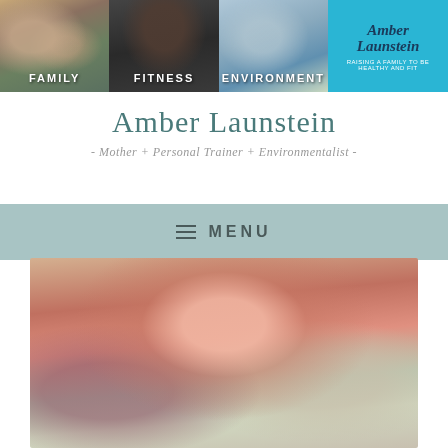[Figure (photo): Blog header banner with four panels: Family photo (woman with two children), Fitness photo (person in gym shirt), Environment photo (adult and child on dock by water), and Amber Launstein logo on blue background with tagline 'Raising a family to be healthy and fit']
Amber Launstein
- Mother + Personal Trainer + Environmentalist -
≡ MENU
[Figure (photo): Young blonde girl smiling, lying on colorful floral bedding, holding a white bottle]